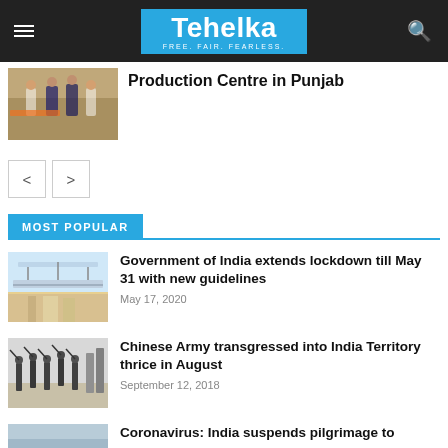Tehelka — FREE. FAIR. FEARLESS.
Production Centre in Punjab
MOST POPULAR
Government of India extends lockdown till May 31 with new guidelines
May 17, 2020
Chinese Army transgressed into India Territory thrice in August
September 12, 2018
Coronavirus: India suspends pilgrimage to